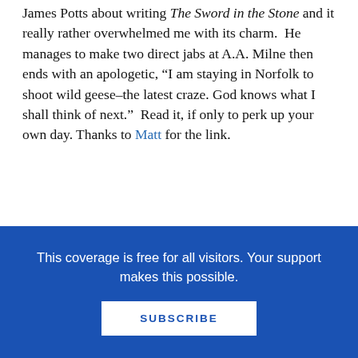James Potts about writing The Sword in the Stone and it really rather overwhelmed me with its charm. He manages to make two direct jabs at A.A. Milne then ends with an apologetic, "I am staying in Norfolk to shoot wild geese–the latest craze. God knows what I shall think of next." Read it, if only to perk up your own day. Thanks to Matt for the link.
Unbeknownst to Debbie Reese and Cynthia Leitich Smith I am a Kalamazoo native. I say this because even though they were unaware of this fact, both saw fit to invoke my name when they
This coverage is free for all visitors. Your support makes this possible.
SUBSCRIBE